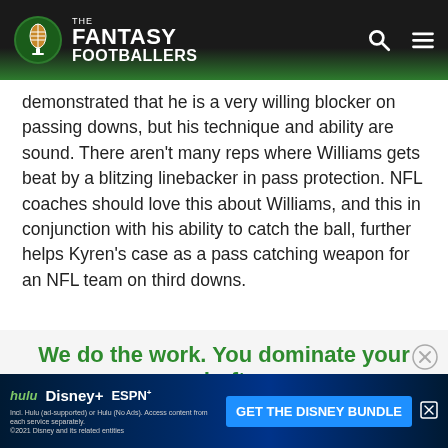The Fantasy Footballers
demonstrated that he is a very willing blocker on passing downs, but his technique and ability are sound. There aren't many reps where Williams gets beat by a blitzing linebacker in pass protection. NFL coaches should love this about Williams, and this in conjunction with his ability to catch the ball, further helps Kyren's case as a pass catching weapon for an NFL team on third downs.
We do the work. You dominate your draft.
[Figure (screenshot): Disney Bundle advertisement banner with Hulu, Disney+, and ESPN+ logos and a blue 'GET THE DISNEY BUNDLE' call-to-action button]